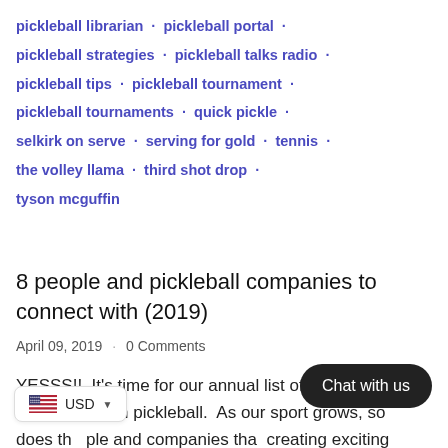pickleball librarian · pickleball portal ·
pickleball strategies · pickleball talks radio ·
pickleball tips · pickleball tournament ·
pickleball tournaments · quick pickle ·
selkirk on serve · serving for gold · tennis ·
the volley llama · third shot drop ·
tyson mcguffin
8 people and pickleball companies to connect with (2019)
April 09, 2019 · 0 Comments
YESSS!!  It's time for our annual list of who to connect with in pickleball.  As our sport grows, so does the people and companies that creating exciting content for all of us.